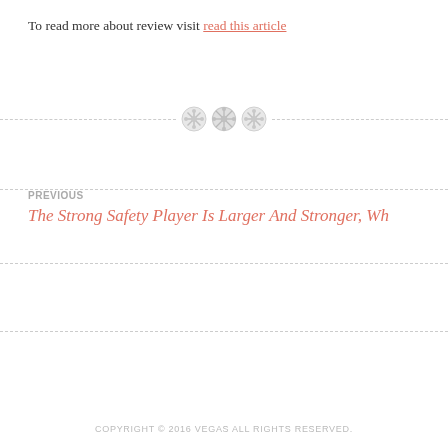To read more about review visit read this article
[Figure (illustration): Decorative divider with three button icons on a dashed horizontal line]
PREVIOUS
The Strong Safety Player Is Larger And Stronger, Wh
COPYRIGHT © 2016 VEGAS ALL RIGHTS RESERVED.